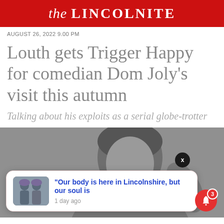the LINCOLNITE
AUGUST 26, 2022 9.00 PM
Louth gets Trigger Happy for comedian Dom Joly’s visit this autumn
Talking about his exploits as a serial globe-trotter
[Figure (photo): Blurred/obscured photo of a person (comedian Dom Joly) with a notification overlay card reading '“Our body is here in Lincolnshire, but our soul is” 1 day ago, with a thumbnail of two people in equestrian helmets. A bell notification button with badge showing 3 is in the bottom right corner.]